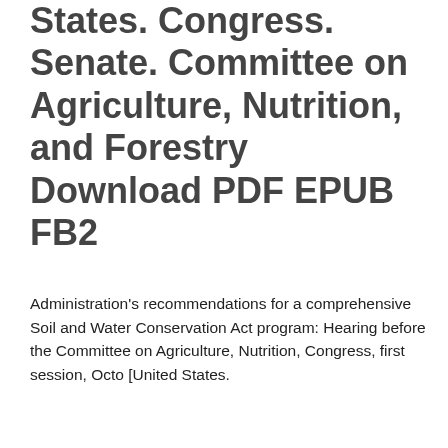States. Congress. Senate. Committee on Agriculture, Nutrition, and Forestry Download PDF EPUB FB2
Administration's recommendations for a comprehensive Soil and Water Conservation Act program: Hearing before the Committee on Agriculture, Nutrition, Congress, first session, Octo [United States.
Congress. Senate. Committee on Agriculture, Nutrition, and Forestry.] on *FREE* shipping on qualifying United States. Congress. Senate. Committee on Agriculture, Nutrition, and Forestry.
Get this from a library. Administration's recommendations for a comprehensive Soil and Water Conservation Act program: hearing before the Committee on Agriculture, Nutrition, and Forestry. United States. Congress. Committees